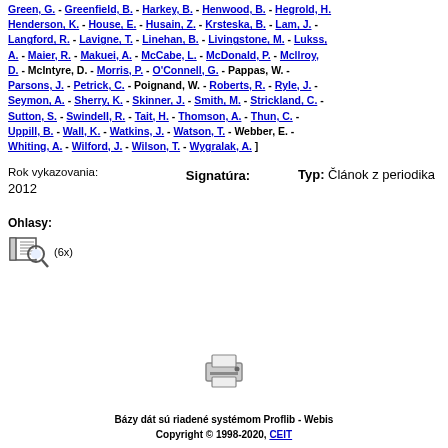Green, G. - Greenfield, B. - Harkey, B. - Henwood, B. - Hegrold, H. - Henderson, K. - House, E. - Husain, Z. - Krsteska, B. - Lam, J. - Langford, R. - Lavigne, T. - Linehan, B. - Livingstone, M. - Lukss, A. - Maier, R. - Makuei, A. - McCabe, L. - McDonald, P. - Mcllroy, D. - McIntyre, D. - Morris, P. - O'Connell, G. - Pappas, W. - Parsons, J. - Petrick, C. - Poignand, W. - Roberts, R. - Ryle, J. - Seymon, A. - Sherry, K. - Skinner, J. - Smith, M. - Strickland, C. - Sutton, S. - Swindell, R. - Tait, H. - Thomson, A. - Thun, C. - Uppill, B. - Wall, K. - Watkins, J. - Watson, T. - Webber, E. - Whiting, A. - Wilford, J. - Wilson, T. - Wygralak, A. ]
Rok vykazovania: 2012
Signatúra:
Typ: Článok z periodika
Ohlasy:
(6x)
[Figure (other): Printer icon]
Bázy dát sú riadené systémom Proflib - Webis Copyright © 1998-2020, CEIT